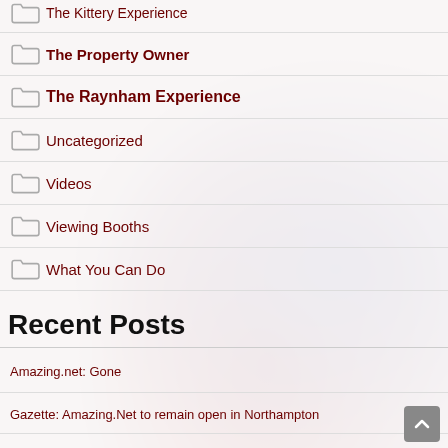The Kittery Experience
The Property Owner
The Raynham Experience
Uncategorized
Videos
Viewing Booths
What You Can Do
Recent Posts
Amazing.net: Gone
Gazette: Amazing.Net to remain open in Northampton